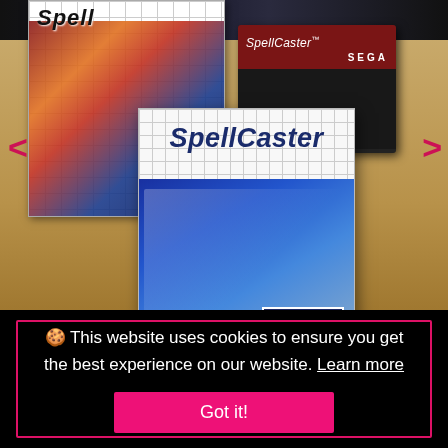[Figure (photo): Photo of SpellCaster Sega Master System game: box on left showing colorful fantasy artwork with characters, Sega cartridge on right with red label reading 'SpellCaster', and game manual in foreground center showing 'SpellCaster' title with blue illustrated artwork and SEGA logo. Navigation arrows (< >) visible on left and right sides. Items resting on a wooden desk surface.]
🍪 This website uses cookies to ensure you get the best experience on our website. Learn more
Got it!